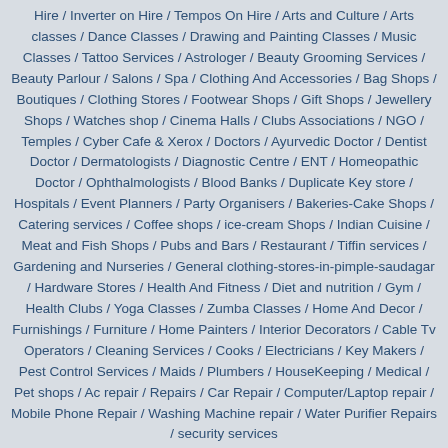Hire / Inverter on Hire / Tempos On Hire / Arts and Culture / Arts classes / Dance Classes / Drawing and Painting Classes / Music Classes / Tattoo Services / Astrologer / Beauty Grooming Services / Beauty Parlour / Salons / Spa / Clothing And Accessories / Bag Shops / Boutiques / Clothing Stores / Footwear Shops / Gift Shops / Jewellery Shops / Watches shop / Cinema Halls / Clubs Associations / NGO / Temples / Cyber Cafe & Xerox / Doctors / Ayurvedic Doctor / Dentist Doctor / Dermatologists / Diagnostic Centre / ENT / Homeopathic Doctor / Ophthalmologists / Blood Banks / Duplicate Key store / Hospitals / Event Planners / Party Organisers / Bakeries-Cake Shops / Catering services / Coffee shops / ice-cream Shops / Indian Cuisine / Meat and Fish Shops / Pubs and Bars / Restaurant / Tiffin services / Gardening and Nurseries / General clothing-stores-in-pimple-saudagar / Hardware Stores / Health And Fitness / Diet and nutrition / Gym / Health Clubs / Yoga Classes / Zumba Classes / Home And Decor / Furnishings / Furniture / Home Painters / Interior Decorators / Cable Tv Operators / Cleaning Services / Cooks / Electricians / Key Makers / Pest Control Services / Maids / Plumbers / HouseKeeping / Medical / Pet shops / Ac repair / Repairs / Car Repair / Computer/Laptop repair / Mobile Phone Repair / Washing Machine repair / Water Purifier Repairs / security services